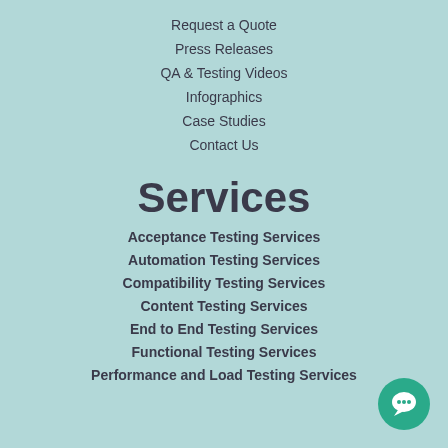Request a Quote
Press Releases
QA & Testing Videos
Infographics
Case Studies
Contact Us
Services
Acceptance Testing Services
Automation Testing Services
Compatibility Testing Services
Content Testing Services
End to End Testing Services
Functional Testing Services
Performance and Load Testing Services
[Figure (illustration): Teal circular chat bubble icon in bottom right corner]